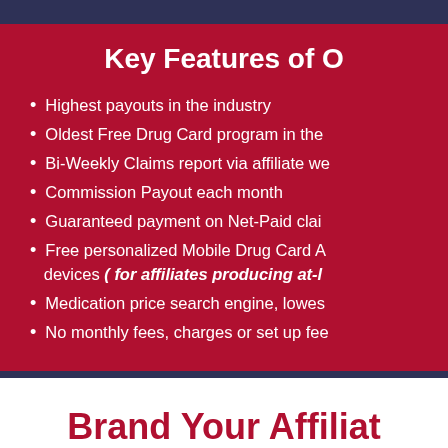Key Features of O
Highest payouts in the industry
Oldest Free Drug Card program in the
Bi-Weekly Claims report via affiliate we
Commission Payout each month
Guaranteed payment on Net-Paid clai
Free personalized Mobile Drug Card A devices ( for affiliates producing at-l
Medication price search engine, lowes
No monthly fees, charges or set up fee
Brand Your Affiliat